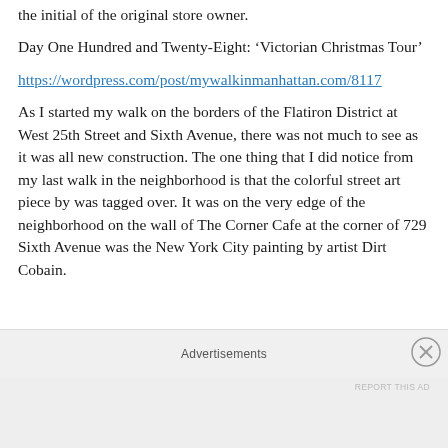the initial of the original store owner.
Day One Hundred and Twenty-Eight: ‘Victorian Christmas Tour’
https://wordpress.com/post/mywalkinmanhattan.com/8117
As I started my walk on the borders of the Flatiron District at West 25th Street and Sixth Avenue, there was not much to see as it was all new construction. The one thing that I did notice from my last walk in the neighborhood is that the colorful street art piece by was tagged over. It was on the very edge of the neighborhood on the wall of The Corner Cafe at the corner of 729 Sixth Avenue was the New York City painting by artist Dirt Cobain.
Advertisements